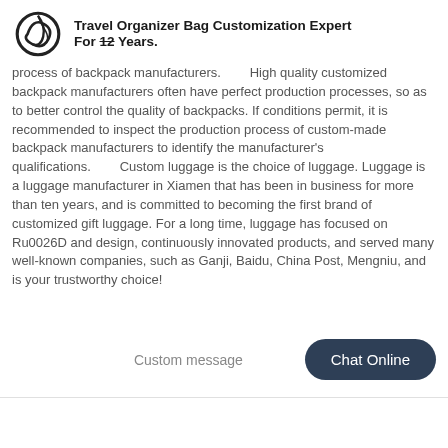Travel Organizer Bag Customization Expert For 12 Years.
process of backpack manufacturers.        High quality customized backpack manufacturers often have perfect production processes, so as to better control the quality of backpacks. If conditions permit, it is recommended to inspect the production process of custom-made backpack manufacturers to identify the manufacturer's qualifications.        Custom luggage is the choice of luggage. Luggage is a luggage manufacturer in Xiamen that has been in business for more than ten years, and is committed to becoming the first brand of customized gift luggage. For a long time, luggage has focused on Ru0026D and design, continuously innovated products, and served many well-known companies, such as Ganji, Baidu, China Post, Mengniu, and is your trustworthy choice!